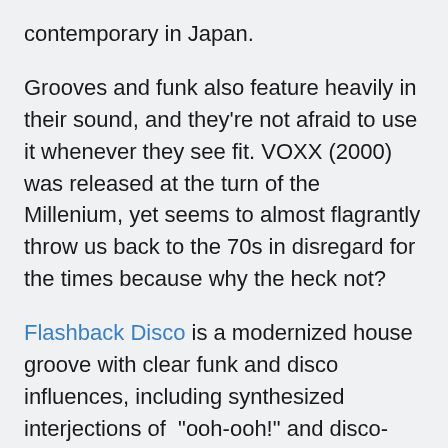contemporary in Japan.
Grooves and funk also feature heavily in their sound, and they're not afraid to use it whenever they see fit. VOXX (2000) was released at the turn of the Millenium, yet seems to almost flagrantly throw us back to the 70s in disregard for the times because why the heck not?
Flashback Disco is a modernized house groove with clear funk and disco influences, including synthesized interjections of “ooh-ooh!” and disco-style string motifs. This is also apparent in their 1997 hit Shangri-La, with the addition of 70s flute riffs and doubling down on the strings,